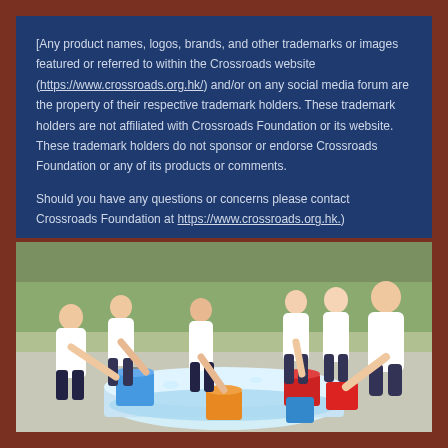[Any product names, logos, brands, and other trademarks or images featured or referred to within the Crossroads website (https://www.crossroads.org.hk/) and/or on any social media forum are the property of their respective trademark holders. These trademark holders are not affiliated with Crossroads Foundation or its website. These trademark holders do not sponsor or endorse Crossroads Foundation or any of its products or comments.

Should you have any questions or concerns please contact Crossroads Foundation at https://www.crossroads.org.hk.)
[Figure (photo): Children in white uniforms playing with colorful buckets (blue, red, orange) around a large tub of water outdoors]